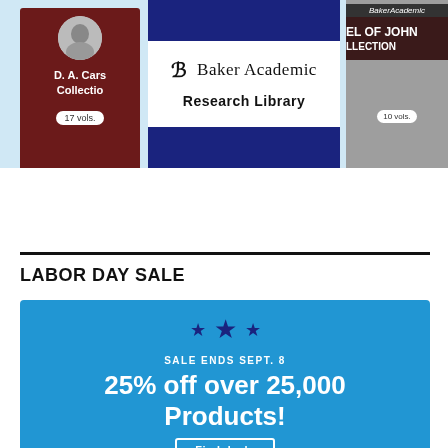[Figure (illustration): Three book collection cards on a light blue background. Left card is dark red with a person's photo and text 'D. A. Cars... Collectio... 17 vols.' Center card shows Baker Academic Research Library logo in blue and white. Right card is gray with text 'EL OF JOHN LLECTION 10 vols.']
LABOR DAY SALE
[Figure (infographic): Blue promotional banner with three dark blue stars, text 'SALE ENDS SEPT. 8', large text '25% off over 25,000 Products!', and a 'Find deals' button.]